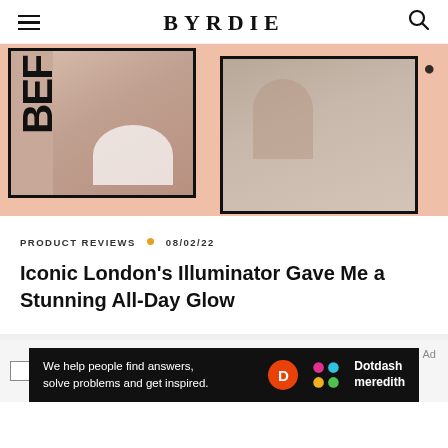BYRDIE
[Figure (photo): Before and after comparison photos of a woman's face/skin showing results of an illuminator product, side by side on a peach/salmon background with 'BEFORE' text label visible on left image.]
PRODUCT REVIEWS • 08/02/22
Iconic London's Illuminator Gave Me a Stunning All-Day Glow
[Figure (photo): Partial image of silicone beauty sponges]
silicone beauty sponges
[Figure (other): Dotdash Meredith advertisement banner: 'We help people find answers, solve problems and get inspired.' with Dotdash Meredith logo]